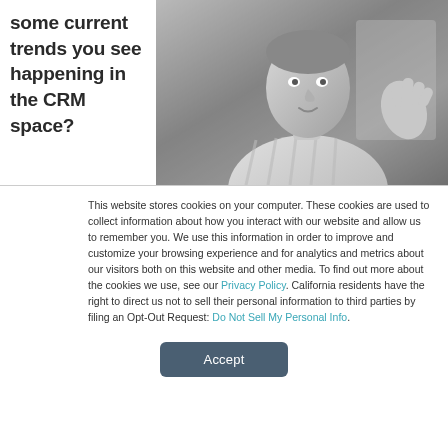some current trends you see happening in the CRM space?
[Figure (photo): Black and white photo of a man in a striped shirt, gesturing with his hand, seated indoors.]
This website stores cookies on your computer. These cookies are used to collect information about how you interact with our website and allow us to remember you. We use this information in order to improve and customize your browsing experience and for analytics and metrics about our visitors both on this website and other media. To find out more about the cookies we use, see our Privacy Policy. California residents have the right to direct us not to sell their personal information to third parties by filing an Opt-Out Request: Do Not Sell My Personal Info.
Accept